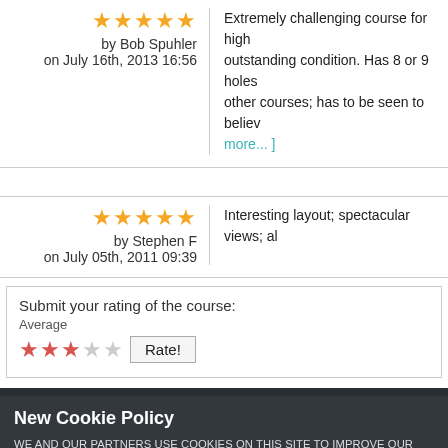★★★★★ by Bob Spuhler on July 16th, 2013 16:56 | Extremely challenging course for high outstanding condition. Has 8 or 9 holes other courses; has to be seen to believe more...]
★★★★★ by Stephen F on July 05th, 2011 09:39 | Interesting layout; spectacular views; al
Submit your rating of the course: Average ★★★☆☆ Rate!
New Cookie Policy
WE AND OUR PARTNERS USE COOKIES ON THIS SITE TO IMPROVE OUR SERVICE, PERFORM ANALYTICS, PERSONALIZE ADVERTISING, MEASURE ADVERTISING PERFORMANCE, AND REMEMBER WEBSITE PREFERENCES. BY USING THE SITE, YOU CONSENT TO THESE COOKIES. FOR MORE INFORMATION ON COOKIES INCLUDING HOW TO MANAGE YOUR CONSENT VISIT OUR COOKIE POLICY.
CONTINUE